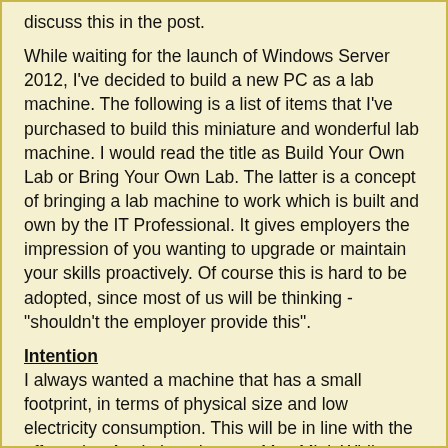discuss this in the post.
While waiting for the launch of Windows Server 2012, I've decided to build a new PC as a lab machine. The following is a list of items that I've purchased to build this miniature and wonderful lab machine. I would read the title as Build Your Own Lab or Bring Your Own Lab. The latter is a concept of bringing a lab machine to work which is built and own by the IT Professional. It gives employers the impression of you wanting to upgrade or maintain your skills proactively. Of course this is hard to be adopted, since most of us will be thinking - "shouldn't the employer provide this".
Intention
I always wanted a machine that has a small footprint, in terms of physical size and low electricity consumption. This will be in line with the efforts that Apple has done on Mac Mini. While being small, it should also be able to handle workloads that I'm going to stress on it. For example, running close to 7 to 8 virtual machines which will contain domain controllers, SQL clusters, Exchange clusters, Citrix Farm, Sharepot Farm, System Center suites and probably surrounding system packages for Anti-virus and Backup.